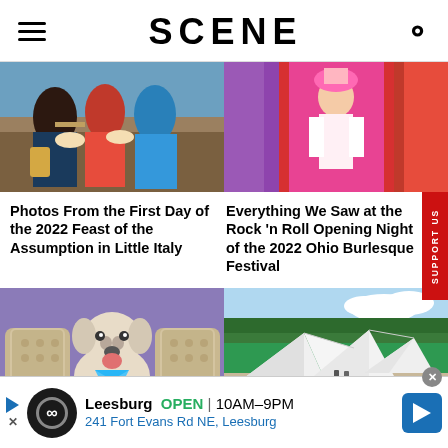SCENE
[Figure (photo): People holding plates of food at the 2022 Feast of the Assumption in Little Italy]
[Figure (photo): Performer on stage at the Rock 'n Roll Opening Night of the 2022 Ohio Burlesque Festival with pink/red curtain backdrop]
Photos From the First Day of the 2022 Feast of the Assumption in Little Italy
Everything We Saw at the Rock 'n Roll Opening Night of the 2022 Ohio Burlesque Festival
[Figure (photo): Dog sitting on ornate chair with purple background]
[Figure (photo): Modern white angular architectural structure outdoors surrounded by trees]
[Figure (other): Advertisement banner: Leesburg OPEN 10AM-9PM, 241 Fort Evans Rd NE, Leesburg]